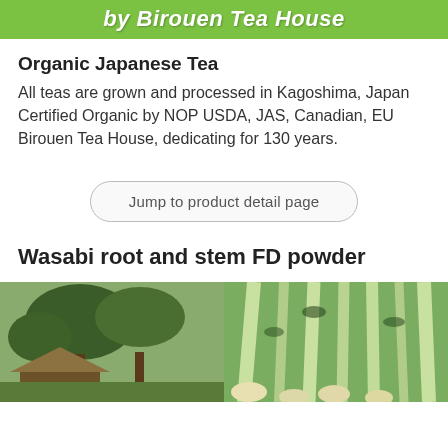by Birouen Tea House
Organic Japanese Tea
All teas are grown and processed in Kagoshima, Japan Certified Organic by NOP USDA, JAS, Canadian, EU Birouen Tea House, dedicating for 130 years.
Jump to product detail page
Wasabi root and stem FD powder
[Figure (photo): Outdoor scene with large trees and a thatched-roof structure amid greenery]
[Figure (photo): Close-up of green wasabi root and stem plants]